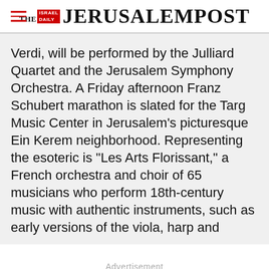THE JERUSALEM POST
Verdi, will be performed by the Julliard Quartet and the Jerusalem Symphony Orchestra. A Friday afternoon Franz Schubert marathon is slated for the Targ Music Center in Jerusalem's picturesque Ein Kerem neighborhood. Representing the esoteric is "Les Arts Florissant," a French orchestra and choir of 65 musicians who perform 18th-century music with authentic instruments, such as early versions of the viola, harp and
Advertisement